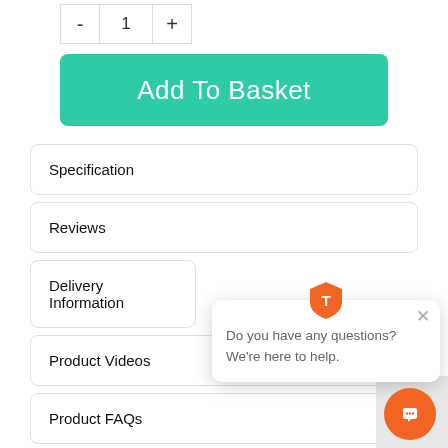[Figure (other): Quantity selector with minus button, value 1, and plus button]
Add To Basket
Specification
Reviews
Delivery Information
Product Videos
Product FAQs
[Figure (other): Chat widget popup with shield/T logo icon, close X button, text 'Do you have any questions? We're here to help.' and orange chat button in bottom right corner]